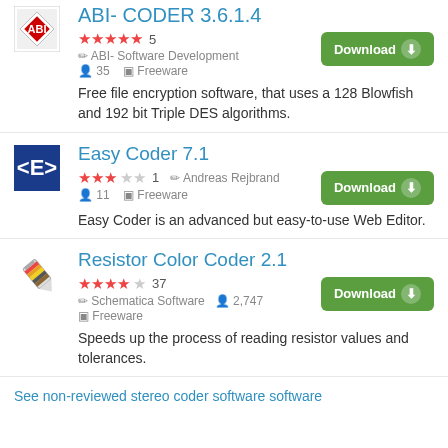ABI- CODER 3.6.1.4
★★★★★ 5  ABI- Software Development  35  Freeware
Free file encryption software, that uses a 128 Blowfish and 192 bit Triple DES algorithms.
Easy Coder 7.1
★★★☆☆ 1  Andreas Rejbrand  11  Freeware
Easy Coder is an advanced but easy-to-use Web Editor.
Resistor Color Coder 2.1
★★★★☆ 37  Schematica Software  2,747  Freeware
Speeds up the process of reading resistor values and tolerances.
See non-reviewed stereo coder software software